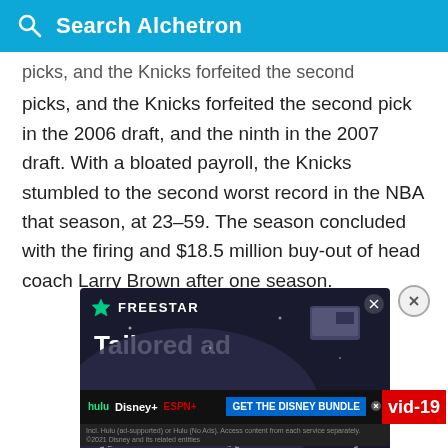Search Alchetron
picks, and the Knicks forfeited the second pick in the 2006 draft, and the ninth in the 2007 draft. With a bloated payroll, the Knicks stumbled to the second worst record in the NBA that season, at 23–59. The season concluded with the firing and $18.5 million buy-out of head coach Larry Brown after one season.
[Figure (screenshot): Freestar 'Tailored ad' advertisement banner with dark background showing tech/device icons]